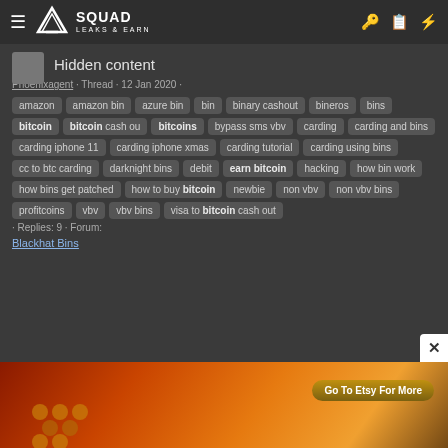Squad Leaks & Earn
Hidden content
Phoenixagent · Thread · 12 Jan 2020 · amazon  amazon bin  azure bin  bin  binary cashout  bineros  bins  bitcoin  bitcoin cash ou  bitcoins  bypass sms vbv  carding  carding and bins  carding iphone 11  carding iphone xmas  carding tutorial  carding using bins  cc to btc carding  darknight bins  debit  earn bitcoin  hacking  how bin work  how bins get patched  how to buy bitcoin  newbie  non vbv  non vbv bins  profitcoins  vbv  vbv bins  visa to bitcoin cash out · Replies: 9 · Forum: Blackhat Bins
[Figure (illustration): Advertisement banner with orange/red artwork featuring a face surrounded by honeycomb patterns and a bee, with 'Go To Etsy For More' button and 'Jurga Creations' branding.]